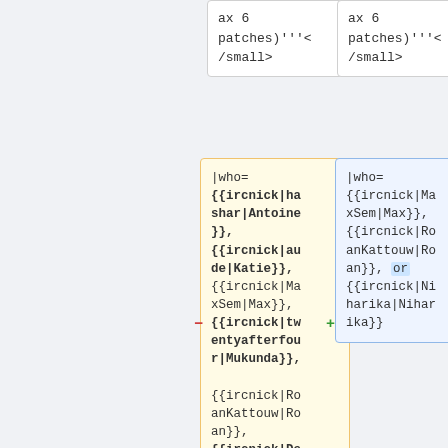ax 6
patches)'''<
/small>
ax 6
patches)'''<
/small>
|who=
{{ircnick|hashar|Antoine}},
{{ircnick|aude|Katie}},
{{ircnick|MaxSem|Max}},
{{ircnick|twentyafterfour|Mukunda}},
{{ircnick|RoanKattouw|Roan}},
{{ircnick|Dereckson|Sébastien}},
|who=
{{ircnick|MaxSem|Max}},
{{ircnick|RoanKattouw|Roan}}, or
{{ircnick|Niharika|Niharika}}